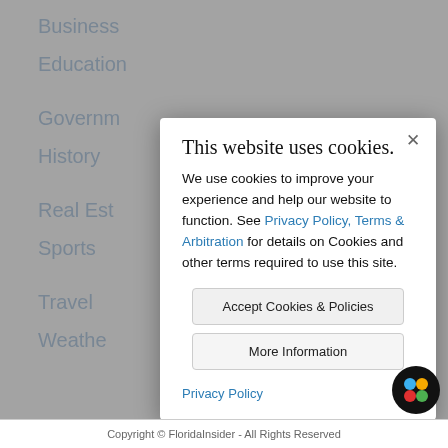Business
Education
Governm…
History
Real Est…
Sports
Travel
Weathe…
This website uses cookies.
We use cookies to improve your experience and help our website to function. See Privacy Policy, Terms & Arbitration for details on Cookies and other terms required to use this site.
Accept Cookies & Policies
More Information
Privacy Policy
Copyright © FloridaInsider - All Rights Reserved